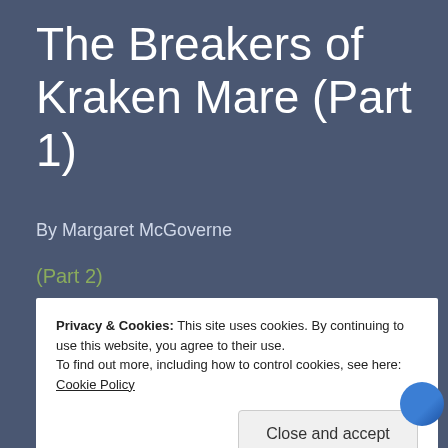The Breakers of Kraken Mare (Part 1)
By Margaret McGoverne
(Part 2)
Marlow Haru was two years, a billion kilometers, and three planets from home, on the most distant planet visible to the naked eye from Earth. The night before
Privacy & Cookies: This site uses cookies. By continuing to use this website, you agree to their use.
To find out more, including how to control cookies, see here: Cookie Policy
Close and accept
But Titan, not Saturn, was his destination. He recalled